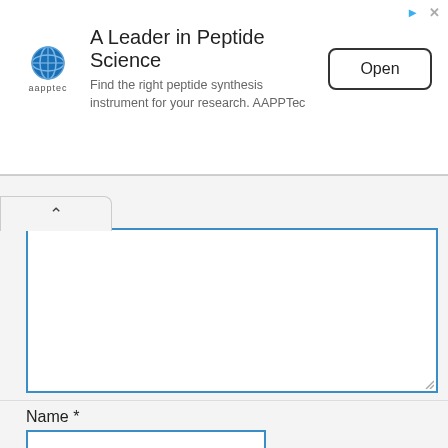[Figure (other): Advertisement banner for AAPPTec peptide synthesis instruments. Contains globe logo, company name 'aapptec', title 'A Leader in Peptide Science', subtitle 'Find the right peptide synthesis instrument for your research. AAPPTec', and an Open button.]
Name *
Email *